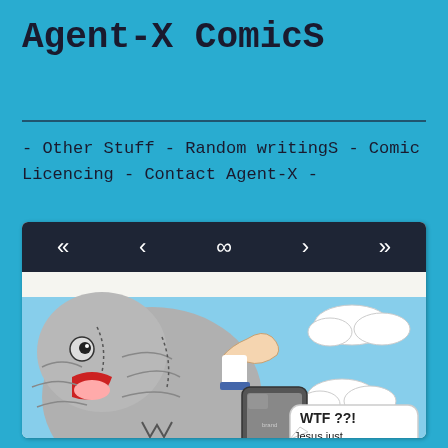Agent-X Comics
- Other Stuff - Random writings - Comic Licencing - Contact Agent-X -
[Figure (illustration): Comic strip screenshot showing a large bird/pigeon looking at a smartphone, with a speech bubble saying 'WTF ??! Jesus just unfollowed me!' against a blue sky with clouds. Navigation bar at top with arrows and infinity symbol.]